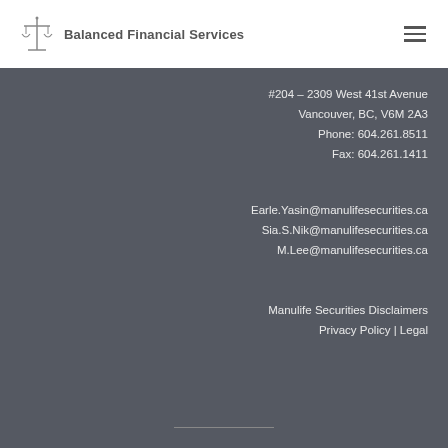[Figure (logo): Balanced Financial Services logo with scales icon and text]
#204 – 2309 West 41st Avenue
Vancouver, BC, V6M 2A3
Phone: 604.261.8511
Fax: 604.261.1411
Earle.Yasin@manulifesecurities.ca
Sia.S.Nik@manulifesecurities.ca
M.Lee@manulifesecurities.ca
Manulife Securities Disclaimers
Privacy Policy | Legal